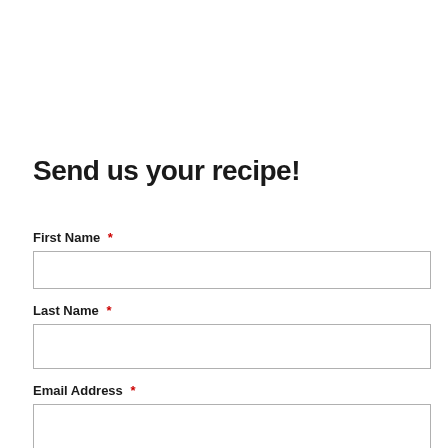Send us your recipe!
First Name *
Last Name *
Email Address *